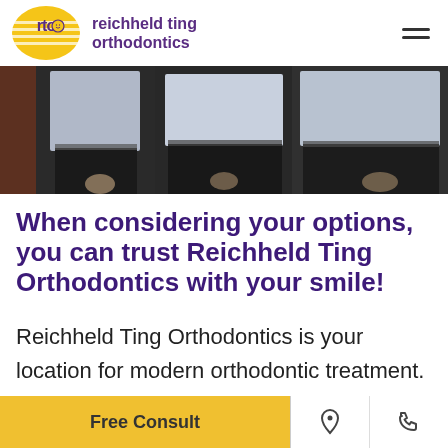reichheld ting orthodontics
[Figure (photo): A photo showing the torsos and lower bodies of three people wearing white/light blue dress shirts and dark trousers, standing together.]
When considering your options, you can trust Reichheld Ting Orthodontics with your smile!
Reichheld Ting Orthodontics is your location for modern orthodontic treatment. Our doctors and our friendly
Free Consult